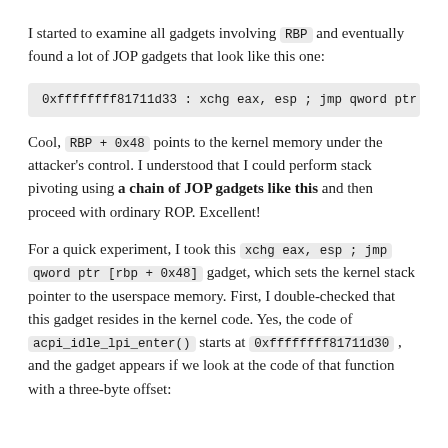I started to examine all gadgets involving RBP and eventually found a lot of JOP gadgets that look like this one:
0xffffffff81711d33 : xchg eax, esp ; jmp qword ptr [r
Cool, RBP + 0x48 points to the kernel memory under the attacker's control. I understood that I could perform stack pivoting using a chain of JOP gadgets like this and then proceed with ordinary ROP. Excellent!
For a quick experiment, I took this xchg eax, esp ; jmp qword ptr [rbp + 0x48] gadget, which sets the kernel stack pointer to the userspace memory. First, I double-checked that this gadget resides in the kernel code. Yes, the code of acpi_idle_lpi_enter() starts at 0xffffffff81711d30 , and the gadget appears if we look at the code of that function with a three-byte offset: